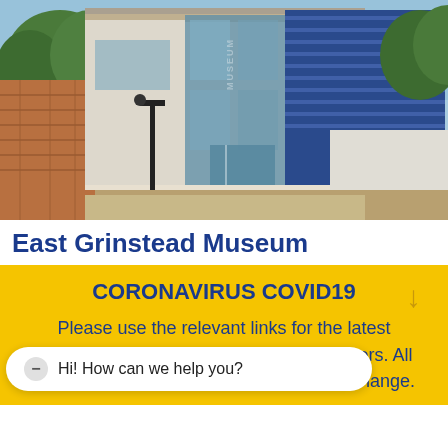[Figure (photo): Exterior photograph of East Grinstead Museum building — a modern two-storey structure with large glass panels, blue metal louvred cladding on the right side, white render, and a black lamp post in front. Blue sky visible above.]
East Grinstead Museum
CORONAVIRUS COVID19
Please use the relevant links for the latest information from venues & event organisers. All information on this website is subject to change.
Hi! How can we help you?